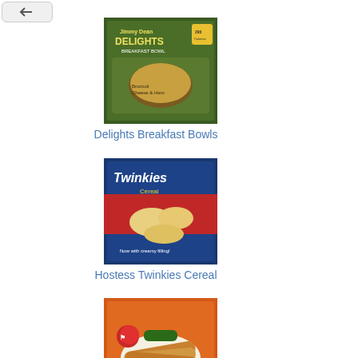[Figure (photo): Back navigation button with X icon]
[Figure (photo): Delights Breakfast Bowls product box image]
Delights Breakfast Bowls
[Figure (photo): Hostess Twinkies Cereal product box image]
Hostess Twinkies Cereal
[Figure (photo): Morning Rolled Tacos product image]
Morning Rolled Tacos
[Figure (photo): Pretzel Pop-Tarts product box image]
Pretzel Pop-Tarts
[Figure (photo): Kisses Cereal product box image (partially visible)]